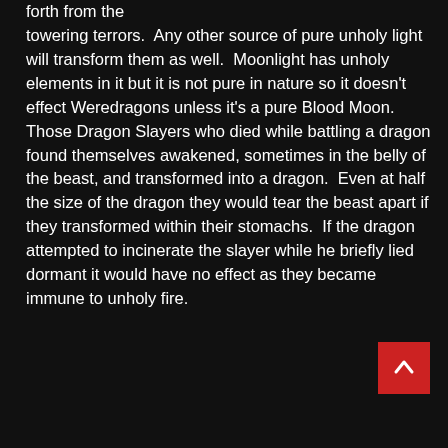forth from the towering terrors.  Any other source of pure unholy light will transform them as well.  Moonlight has unholy elements in it but it is not pure in nature so it doesn't effect Weredragons unless it's a pure Blood Moon.  Those Dragon Slayers who died while battling a dragon found themselves awakened, sometimes in the belly of the beast, and transformed into a dragon.  Even at half the size of the dragon they would tear the beast apart if they transformed within their stomachs.  If the dragon attempted to incinerate the slayer while he briefly lied dormant it would have no effect as they became immune to unholy fire.